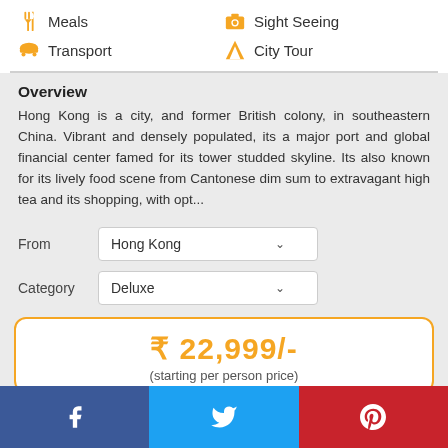Meals
Sight Seeing
Transport
City Tour
Overview
Hong Kong is a city, and former British colony, in southeastern China. Vibrant and densely populated, its a major port and global financial center famed for its tower studded skyline. Its also known for its lively food scene from Cantonese dim sum to extravagant high tea and its shopping, with opt...
From: Hong Kong
Category: Deluxe
₹ 22,999/- (starting per person price)
Facebook | Twitter | Pinterest